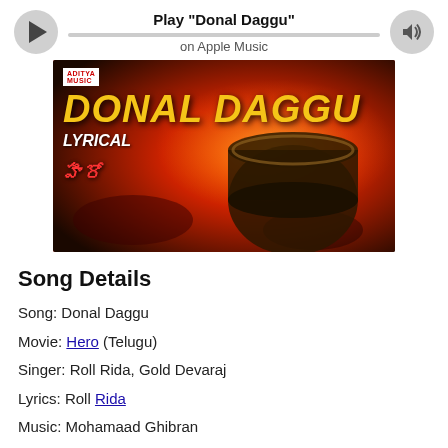Play "Donal Daggu" on Apple Music
[Figure (photo): Album art thumbnail for Donal Daggu lyrical song from Telugu movie Hero, showing a young man in a red outfit playing a large drum against a red/dark background, with DONAL DAGGU text in yellow and LYRICAL text in white, Aditya Music logo in top left.]
Song Details
Song: Donal Daggu
Movie: Hero (Telugu)
Singer: Roll Rida, Gold Devaraj
Lyrics: Roll Rida
Music: Mohamaad Ghibran
Starring: Ashok Galla, Nidhhi Agerwal